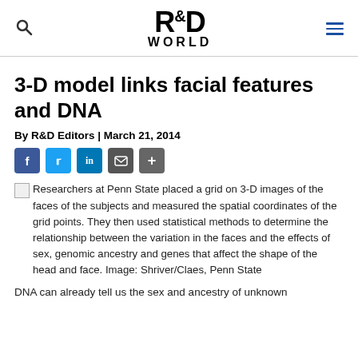R&D WORLD
3-D model links facial features and DNA
By R&D Editors | March 21, 2014
[Figure (infographic): Social sharing buttons: Facebook, Twitter, LinkedIn, Email, Share]
Researchers at Penn State placed a grid on 3-D images of the faces of the subjects and measured the spatial coordinates of the grid points. They then used statistical methods to determine the relationship between the variation in the faces and the effects of sex, genomic ancestry and genes that affect the shape of the head and face. Image: Shriver/Claes, Penn State
DNA can already tell us the sex and ancestry of unknown